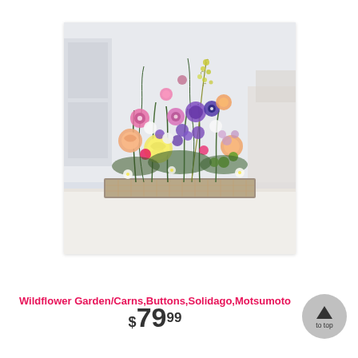[Figure (photo): A wildflower garden arrangement in a rectangular plaid-patterned box on a white table, featuring pink, purple, yellow, and orange flowers including carnations, buttons, solidago, and matsumoto asters, against a white room background.]
Wildflower Garden/Carns,Buttons,Solidago,Motsumoto
$79.99